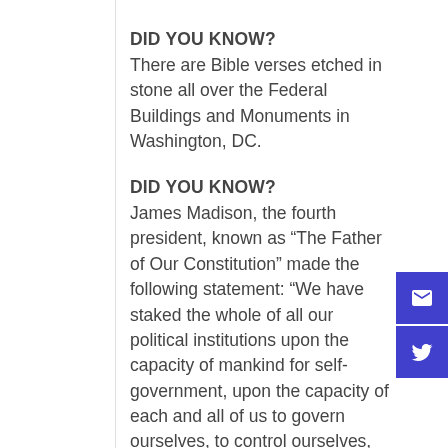DID YOU KNOW?
There are Bible verses etched in stone all over the Federal Buildings and Monuments in Washington, DC.
DID YOU KNOW?
James Madison, the fourth president, known as “The Father of Our Constitution” made the following statement: “We have staked the whole of all our political institutions upon the capacity of mankind for self-government, upon the capacity of each and all of us to govern ourselves, to control ourselves, to sustain ourselves according to the Ten Commandments of God.”
DID YOU KNOW?
Patrick Henry, that patriot and Founding